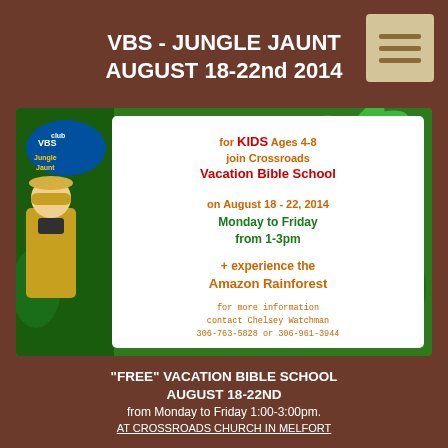VBS - JUNGLE JAUNT AUGUST 18-22nd 2014
[Figure (illustration): VBS Jungle Jaunt promotional flyer showing a jungle scene with a cartoon explorer, monkey climbing a palm tree, and jungle vegetation. Contains text about the event: for KIDS Ages 4-8 join Crossroads Vacation Bible School on August 18-22, 2014 Monday to Friday from 1-3pm + experience the Amazon Rainforest. Contact info: Chelsey Watchman 306-763-5828 or 306-961-3944]
"FREE" VACATION BIBLE SCHOOL AUGUST 18-22ND
from Monday to Friday 1:00-3:00pm.
AT CROSSROADS CHURCH IN MELFORT